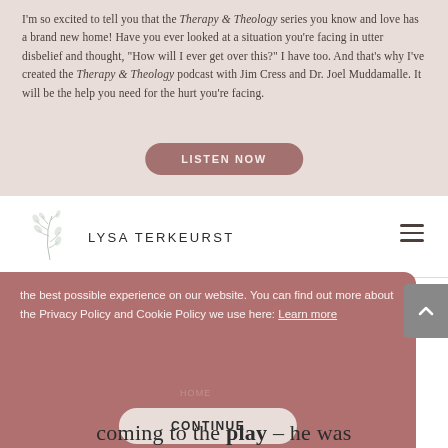I'm so excited to tell you that the Therapy & Theology series you know and love has a brand new home! Have you ever looked at a situation you're facing in utter disbelief and thought, "How will I ever get over this?" I have too. And that's why I've created the Therapy & Theology podcast with Jim Cress and Dr. Joel Muddamalle. It will be the help you need for the hurt you're facing.
[Figure (other): LISTEN NOW button - rounded rectangle button with mauve/rose color]
[Figure (logo): Lysa TerKeurst logo with leaf/branch decorative element and navigation hamburger menu]
the best possible experience on our website. You can find out more about the Privacy Policy and Cookie Policy we use here: Learn more
[Figure (other): CONTINUE button - rounded rectangle button on cookie consent overlay]
coming to the play – he was